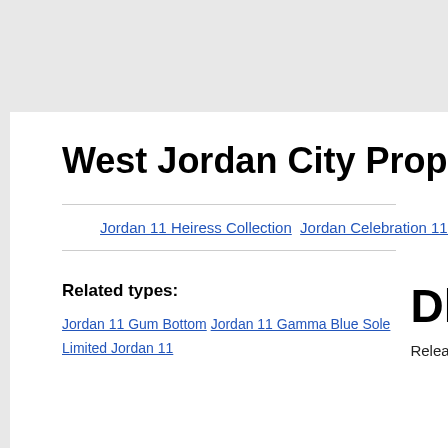West Jordan City Proposition 1
Jordan 11 Heiress Collection  Jordan Celebration 11 Sho
Related types:
Jordan 11 Gum Bottom Jordan 11 Gamma Blue Sole Limited Jordan 11
Dhgate J
Release date-2020